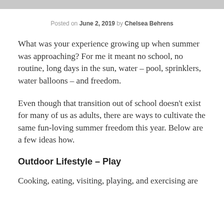Posted on June 2, 2019 by Chelsea Behrens
What was your experience growing up when summer was approaching? For me it meant no school, no routine, long days in the sun, water – pool, sprinklers, water balloons – and freedom.
Even though that transition out of school doesn't exist for many of us as adults, there are ways to cultivate the same fun-loving summer freedom this year. Below are a few ideas how.
Outdoor Lifestyle – Play
Cooking, eating, visiting, playing, and exercising are